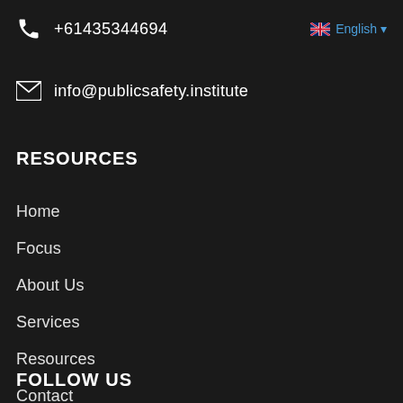+61435344694
English
info@publicsafety.institute
RESOURCES
Home
Focus
About Us
Services
Resources
Contact
FOLLOW US